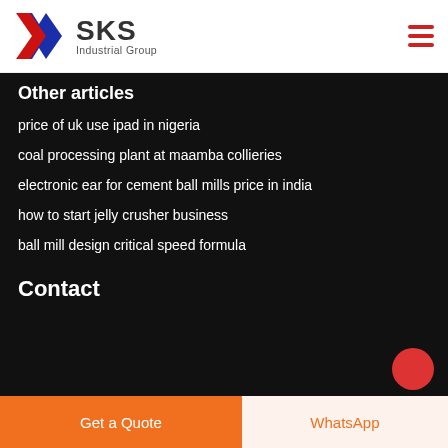SKS Industrial Group
Other articles
price of uk use ipad in nigeria
coal processing plant at maamba collieries
electronic ear for cement ball mills price in india
how to start jelly crusher business
ball mill design critical speed formula
Contact
Get a Quote
WhatsApp